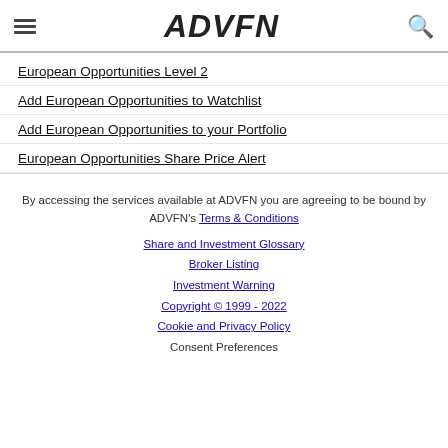ADVFN
European Opportunities Level 2
Add European Opportunities to Watchlist
Add European Opportunities to your Portfolio
European Opportunities Share Price Alert
By accessing the services available at ADVFN you are agreeing to be bound by ADVFN's Terms & Conditions
Share and Investment Glossary
Broker Listing
Investment Warning
Copyright © 1999 - 2022
Cookie and Privacy Policy
Consent Preferences